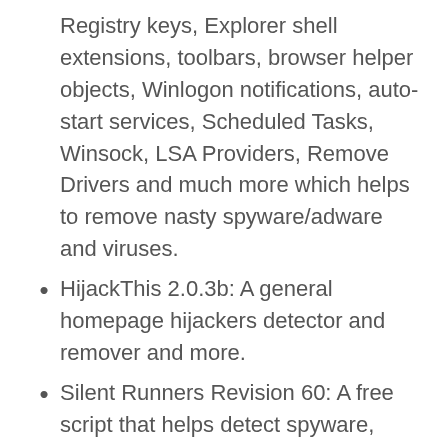Registry keys, Explorer shell extensions, toolbars, browser helper objects, Winlogon notifications, auto-start services, Scheduled Tasks, Winsock, LSA Providers, Remove Drivers and much more which helps to remove nasty spyware/adware and viruses.
HijackThis 2.0.3b: A general homepage hijackers detector and remover and more.
Silent Runners Revision 60: A free script that helps detect spyware, malware and adware in the startup process.
Startup Control Panel 2.8: A tool to edit startup programs.
Startup Monitor 1.02: It notifies you when any program registers itself to run at system startup.